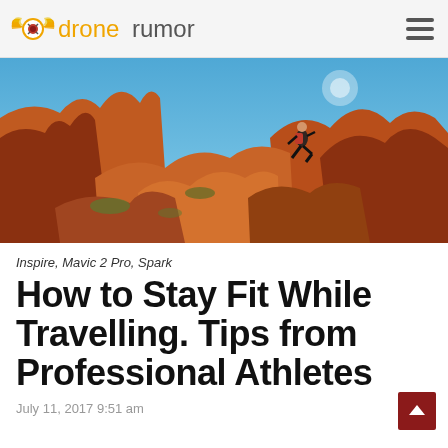dronerumor
[Figure (photo): Person jumping between rocks in a red rock canyon landscape with blue sky background, wearing a red backpack]
Inspire, Mavic 2 Pro, Spark
How to Stay Fit While Travelling. Tips from Professional Athletes
July 11, 2017 9:51 am